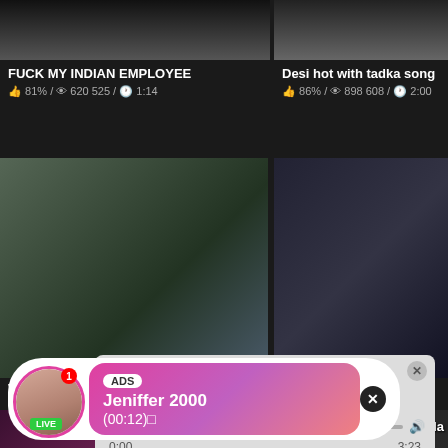[Figure (screenshot): Thumbnail image top left - dark/blurred video thumbnail]
[Figure (screenshot): Thumbnail image top right - dark/blurred video thumbnail]
FUCK MY INDIAN EMPLOYEE
👍 81% / 👁 620 525 / 🕐 1:14
Desi hot with tadka song
👍 86% / 👁 898 608 / 🕐 2:00
[Figure (screenshot): Middle left video thumbnail - outdoor scene]
[Figure (screenshot): Middle right video thumbnail - dark interior scene]
VID-
👍 95
[Figure (infographic): Audio ad popup: Green phone icon, '(1)Missed Call from Eliza', 'pleeease call me back.. I miss you!', audio player controls with progress bar, time 0:00 / 3:23]
[Figure (infographic): Live notification popup: Avatar with LIVE badge, ADS label, 'Jeniffer 2000', '(00:12)□' on pink gradient background]
Dasi Adda